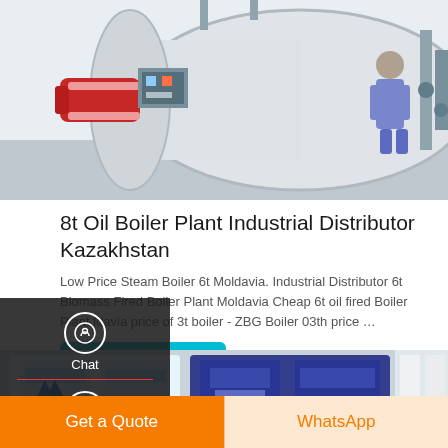[Figure (photo): Industrial oil boiler plant with a large cylindrical drum and red burner unit visible on the left side, industrial setting]
8t Oil Boiler Plant Industrial Distributor Kazakhstan
Low Price Steam Boiler 6t Moldavia. Industrial Distributor 6t Biomass Fired Boiler Plant Moldavia Cheap 6t oil fired Boiler Plant ldavia price of 3t boiler - ZBG Boiler 03th price …
[Figure (other): Sidebar overlay with chat, email, contact, and back-to-top icons]
[Figure (photo): Industrial boiler units in a factory or showroom setting, blue and white colored boiler equipment]
Get A Quote
Get a Quote
WhatsApp